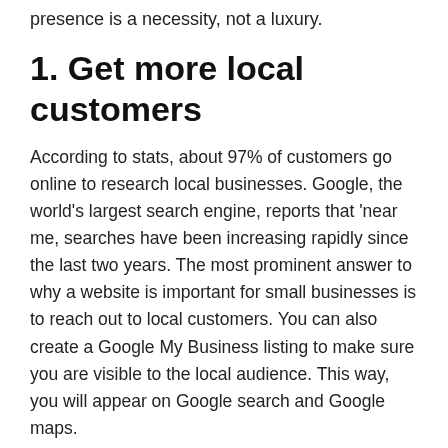presence is a necessity, not a luxury.
1. Get more local customers
According to stats, about 97% of customers go online to research local businesses. Google, the world’s largest search engine, reports that ‘near me, searches have been increasing rapidly since the last two years. The most prominent answer to why a website is important for small businesses is to reach out to local customers. You can also create a Google My Business listing to make sure you are visible to the local audience. This way, you will appear on Google search and Google maps.
A Google listing tool alone is not sufficient. You need a website that works in sync with this tool to...